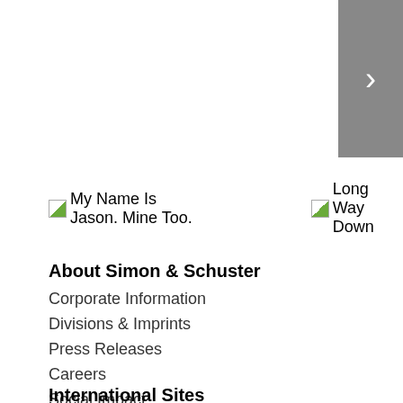[Figure (other): Gray navigation arrow button with white right-pointing chevron, positioned at top-right corner]
My Name Is Jason. Mine Too.
Long Way Down
About Simon & Schuster
Corporate Information
Divisions & Imprints
Press Releases
Careers
Social Impact
Our Mission Statement
International Sites